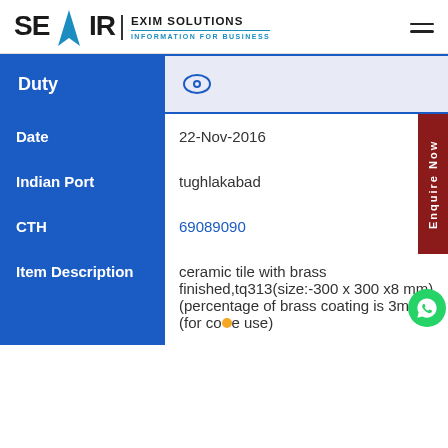SEAIR EXIM SOLUTIONS - INFORMATION FOR BUSINESS
| Field | Value |
| --- | --- |
| Duty |  |
| Date | 22-Nov-2016 |
| Indian Port | tughlakabad |
| CTH | 69089090 |
| Item Description | ceramic tile with brass finished,tq313(size:-300 x 300 x8 mm)(percentage of brass coating is 3mm)(for co...e use) |